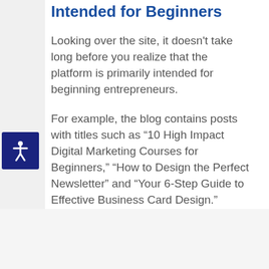Intended for Beginners
Looking over the site, it doesn’t take long before you realize that the platform is primarily intended for beginning entrepreneurs.
For example, the blog contains posts with titles such as “10 High Impact Digital Marketing Courses for Beginners,” “How to Design the Perfect Newsletter” and “Your 6-Step Guide to Effective Business Card Design.”